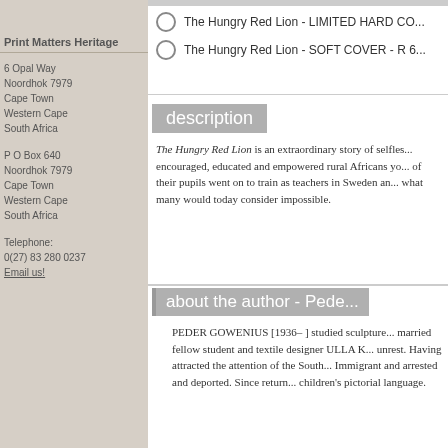Print Matters Heritage
6 Opal Way
Noordhook 7979
Cape Town
Western Cape
South Africa
P O Box 640
Noordhook 7979
Cape Town
Western Cape
South Africa
Telephone:
0(27) 83 280 0237
Email us!
The Hungry Red Lion - LIMITED HARD CO...
The Hungry Red Lion - SOFT COVER - R 6...
description
The Hungry Red Lion is an extraordinary story of selfles... encouraged, educated and empowered rural Africans yo... of their pupils went on to train as teachers in Sweden an... what many would today consider impossible.
about the author - Pede...
PEDER GOWENIUS [1936– ] studied sculpture... married fellow student and textile designer ULLA K... unrest. Having attracted the attention of the South... Immigrant and arrested and deported. Since return... children's pictorial language.